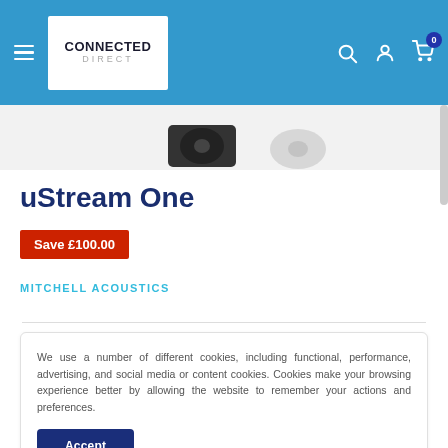[Figure (logo): Connected Direct logo in white box on blue navigation bar]
[Figure (photo): Partial product image of Mitchell Acoustics uStream One speaker/device at bottom of image area]
uStream One
Save £100.00
MITCHELL ACOUSTICS
We use a number of different cookies, including functional, performance, advertising, and social media or content cookies. Cookies make your browsing experience better by allowing the website to remember your actions and preferences.
Accept